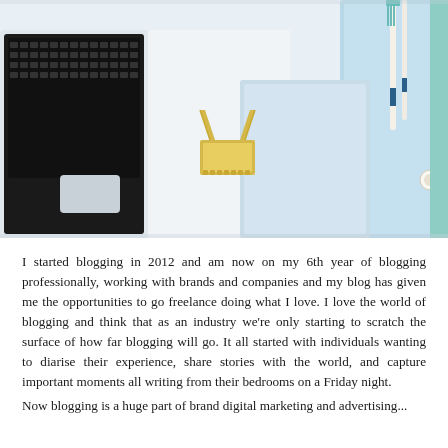[Figure (photo): Flat lay photo of a laptop, gold binder clip, pens with navy and white tips, a light blue notebook/planner, and a mint green agenda/book on a white surface.]
I started blogging in 2012 and am now on my 6th year of blogging professionally, working with brands and companies and my blog has given me the opportunities to go freelance doing what I love. I love the world of blogging and think that as an industry we're only starting to scratch the surface of how far blogging will go. It all started with individuals wanting to diarise their experience, share stories with the world, and capture important moments all writing from their bedrooms on a Friday night.
Now blogging is a huge part of brand digital marketing and advertising...